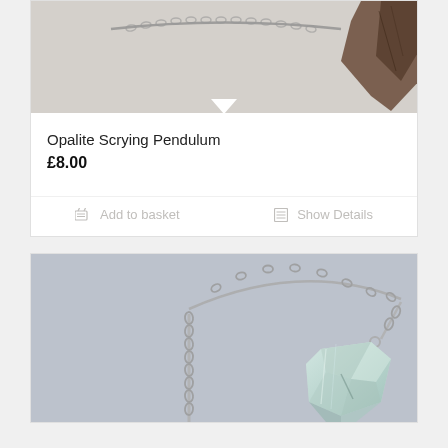[Figure (photo): Top portion of a product photo showing a scrying pendulum on a chain against a light background, with a pointed dark crystal visible at the right edge]
Opalite Scrying Pendulum
£8.00
Add to basket
Show Details
[Figure (photo): Photo of an opalite scrying pendulum — a pale aqua/seafoam faceted crystal point hanging from a silver chain, against a blue-grey background]